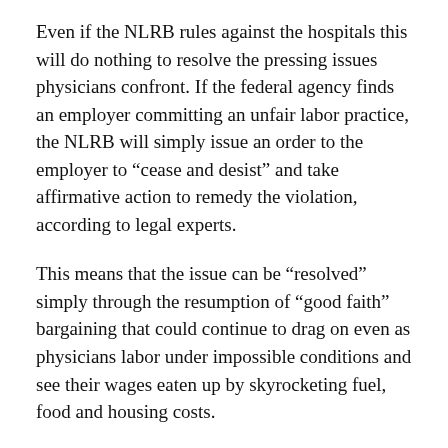Even if the NLRB rules against the hospitals this will do nothing to resolve the pressing issues physicians confront. If the federal agency finds an employer committing an unfair labor practice, the NLRB will simply issue an order to the employer to “cease and desist” and take affirmative action to remedy the violation, according to legal experts.
This means that the issue can be “resolved” simply through the resumption of “good faith” bargaining that could continue to drag on even as physicians labor under impossible conditions and see their wages eaten up by skyrocketing fuel, food and housing costs.
The NLRB will not force state and county officials and hospital management to increase staffing levels, provide adequate COVID-19 protections or increase paltry wages. None of these gross violations of workers’ rights are considered “unfair labor practices” as defined by the